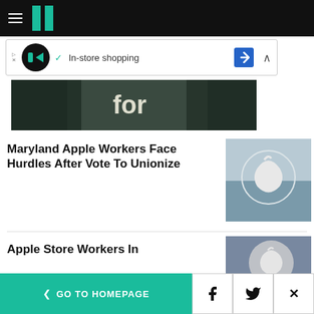HuffPost navigation bar with hamburger menu and logo
[Figure (screenshot): Ad banner: In-store shopping advertisement with circular logo and blue arrow icon]
[Figure (photo): Partial hero image showing people, text 'for' visible]
Maryland Apple Workers Face Hurdles After Vote To Unionize
[Figure (photo): Apple Store with Apple logo on glass window]
Apple Store Workers In
[Figure (photo): Apple logo close-up on dark background]
< GO TO HOMEPAGE  [Facebook] [Twitter] [X]